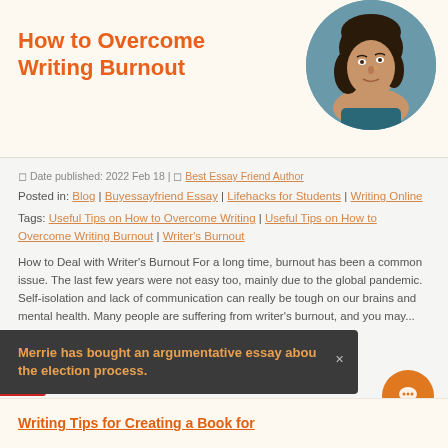[Figure (photo): Hero banner with orange title 'How to Overcome Writing Burnout' on cream background with circular photo of a young woman thinking, hand on chin, against teal background]
How to Overcome Writing Burnout
Date published: 2022 Feb 18 | Best Essay Friend Author
Posted in: Blog | Buyessayfriend Essay | Lifehacks for Students | Writing Online
Tags: Useful Tips on How to Overcome Writing | Useful Tips on How to Overcome Writing Burnout | Writer's Burnout
How to Deal with Writer's Burnout For a long time, burnout has been a common issue. The last few years were not easy too, mainly due to the global pandemic. Self-isolation and lack of communication can really be tough on our brains and mental health. Many people are suffering from writer's burnout, and you may...
Merrie has bought an argumentative essay abou the election process.
Writing Tips for Creating a Book for